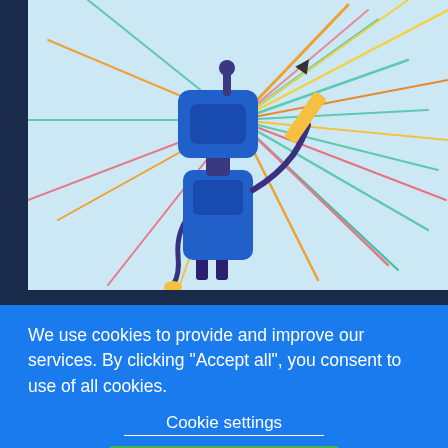[Figure (illustration): A blue robot illustration holding a yellow pencil/marker, with colorful radiating lines (teal, orange, yellow, pink) in the background on a light blue background. The robot has a square head, cylindrical body, and coiled arm with a yellow hook/loop at the bottom.]
Automation has become the backbone for businesses wanting to stay afloat in the highly competitive markets today. Managed Service Providers (MSPs) are among those
We use cookies to provide and improve our services. By clicking "Accept all", you consent to use of all cookies.
Cookie settings
ACCEPT ALL